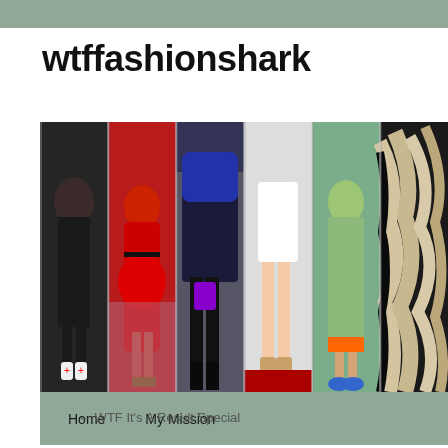wtffashionshark
[Figure (photo): Fashion collage banner showing six panels of people in various outfits: black bodysuit from behind, red lace dress from behind, dark blue fur coat with black leather pants and purple bag, white mini dress from front, green sequin dress from behind with blue platform shoes, and abstract sculptural ruffled garment]
Home   My Mission
← WTF It's A Result Special